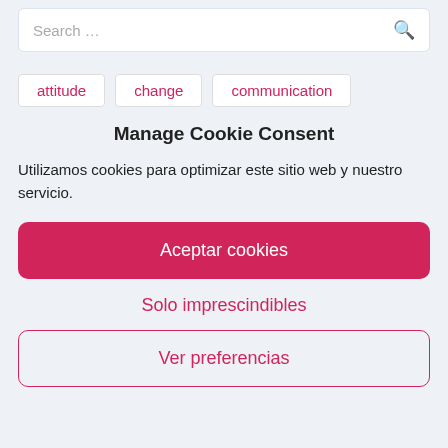Search …
attitude
change
communication
Manage Cookie Consent
Utilizamos cookies para optimizar este sitio web y nuestro servicio.
Aceptar cookies
Solo imprescindibles
Ver preferencias